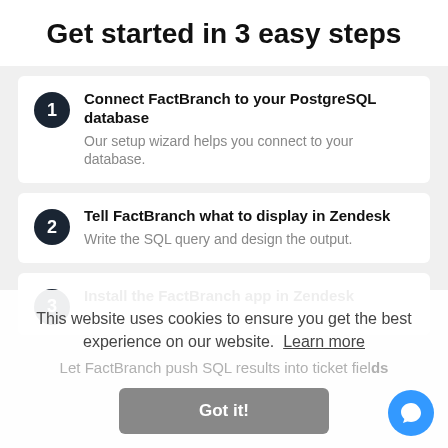Get started in 3 easy steps
1. Connect FactBranch to your PostgreSQL database — Our setup wizard helps you connect to your database.
2. Tell FactBranch what to display in Zendesk — Write the SQL query and design the output.
3. Install the FactBranch app in Zendesk — Let FactBranch push SQL results into ticket fields
This website uses cookies to ensure you get the best experience on our website. Learn more
Got it!